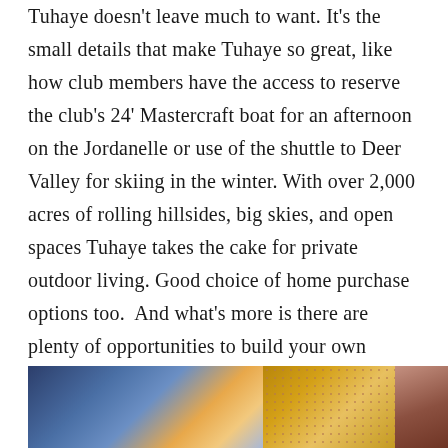Tuhaye doesn't leave much to want. It's the small details that make Tuhaye so great, like how club members have the access to reserve the club's 24' Mastercraft boat for an afternoon on the Jordanelle or use of the shuttle to Deer Valley for skiing in the winter. With over 2,000 acres of rolling hillsides, big skies, and open spaces Tuhaye takes the cake for private outdoor living. Good choice of home purchase options too. And what's more is there are plenty of opportunities to build your own home, customizable, on 1-5 acre home sites.
[Figure (photo): Row of three photos: left shows a lodge/cabin at dusk with dramatic sky reflections on water; middle shows a geometric patterned ceiling or architectural detail in warm gold tones; right shows what appears to be an interior bath or spa space.]